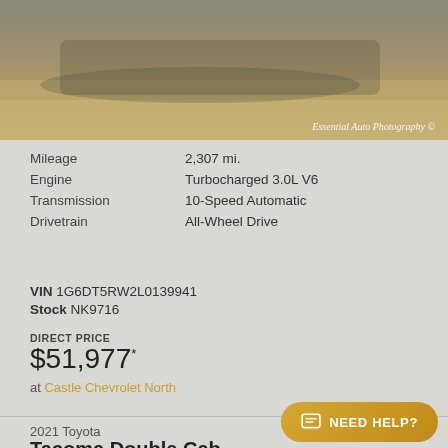[Figure (photo): Partial photo of a vehicle on a dirt/gravel surface with watermark 'Essential Auto Photography ©']
| Attribute | Value |
| --- | --- |
| Mileage | 2,307 mi. |
| Engine | Turbocharged 3.0L V6 |
| Transmission | 10-Speed Automatic |
| Drivetrain | All-Wheel Drive |
VIN 1G6DT5RW2L0139941
Stock NK9716
DIRECT PRICE
$51,977*
at Castle Chevrolet North
2021 Toyota
Tacoma Double Cab